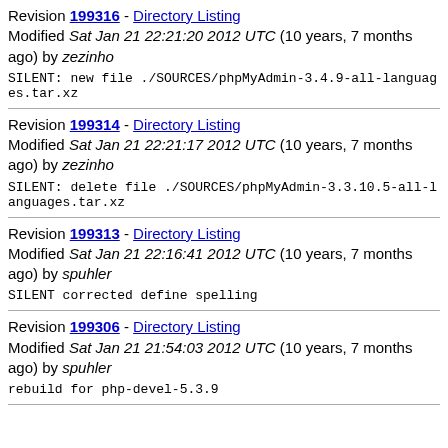Revision 199316 - Directory Listing
Modified Sat Jan 21 22:21:20 2012 UTC (10 years, 7 months ago) by zezinho
SILENT: new file ./SOURCES/phpMyAdmin-3.4.9-all-languages.tar.xz
Revision 199314 - Directory Listing
Modified Sat Jan 21 22:21:17 2012 UTC (10 years, 7 months ago) by zezinho
SILENT: delete file ./SOURCES/phpMyAdmin-3.3.10.5-all-languages.tar.xz
Revision 199313 - Directory Listing
Modified Sat Jan 21 22:16:41 2012 UTC (10 years, 7 months ago) by spuhler
SILENT corrected define spelling
Revision 199306 - Directory Listing
Modified Sat Jan 21 21:54:03 2012 UTC (10 years, 7 months ago) by spuhler
rebuild for php-devel-5.3.9